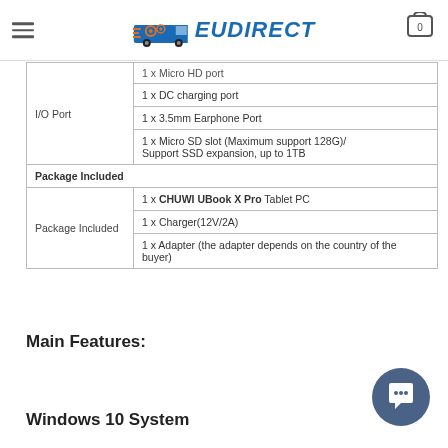[Figure (logo): EUDirect logo with truck icon and gear elements, blue and orange color scheme]
| I/O Port | 1 x Micro HD port |
| I/O Port | 1 x DC charging port |
| I/O Port | 1 x 3.5mm Earphone Port |
| I/O Port | 1 x Micro SD slot (Maximum support 128G)/
Support SSD expansion, up to 1TB |
| Package Included |  |
| Package Included | 1 x CHUWI UBook X Pro Tablet PC |
| Package Included | 1 x Charger(12V/2A) |
| Package Included | 1 x Adapter (the adapter depends on the country of the buyer) |
Main Features:
Windows 10 System